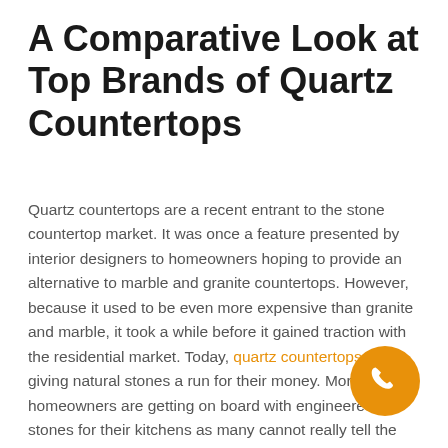A Comparative Look at Top Brands of Quartz Countertops
Quartz countertops are a recent entrant to the stone countertop market. It was once a feature presented by interior designers to homeowners hoping to provide an alternative to marble and granite countertops. However, because it used to be even more expensive than granite and marble, it took a while before it gained traction with the residential market. Today, quartz countertops are giving natural stones a run for their money. More homeowners are getting on board with engineered stones for their kitchens as many cannot really tell the difference between them and natural stones.
This is not surprising, as quartz countertops can
[Figure (illustration): Orange circular phone/call button icon with white telephone handset symbol]